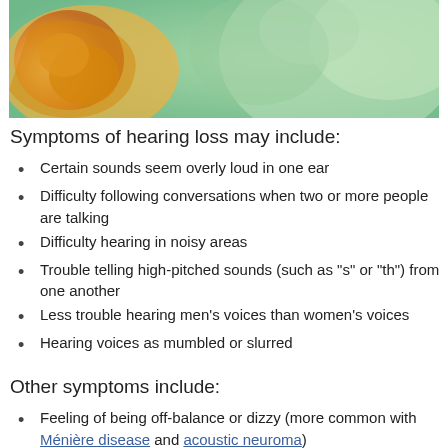[Figure (illustration): Medical illustration of the inner ear anatomy showing ear canal and surrounding tissue with orange/yellow and green colors]
Symptoms of hearing loss may include:
Certain sounds seem overly loud in one ear
Difficulty following conversations when two or more people are talking
Difficulty hearing in noisy areas
Trouble telling high-pitched sounds (such as "s" or "th") from one another
Less trouble hearing men's voices than women's voices
Hearing voices as mumbled or slurred
Other symptoms include:
Feeling of being off-balance or dizzy (more common with Ménière disease and acoustic neuroma)
Feeling of pressure in the ear (in the fluid behind the eardrum)
Ringing or buzzing sound in the ears (tinnitus)
Causes